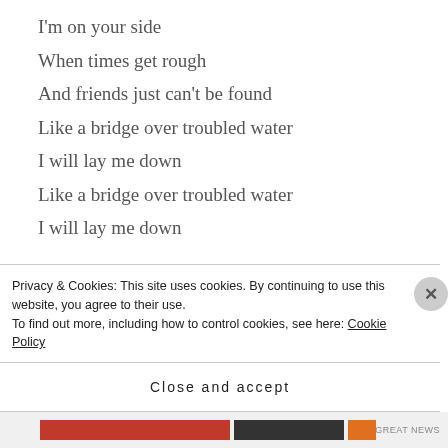I'm on your side
When times get rough
And friends just can't be found
Like a bridge over troubled water
I will lay me down
Like a bridge over troubled water
I will lay me down

When you're down and out
When you're on the street
When evening falls so hard
Privacy & Cookies: This site uses cookies. By continuing to use this website, you agree to their use.
To find out more, including how to control cookies, see here: Cookie Policy
Close and accept